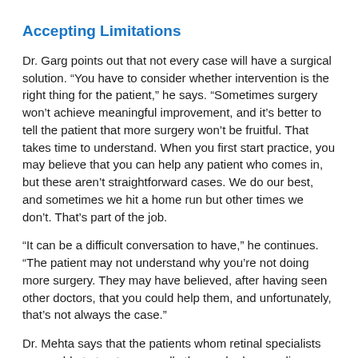Accepting Limitations
Dr. Garg points out that not every case will have a surgical solution. “You have to consider whether intervention is the right thing for the patient,” he says. “Sometimes surgery won’t achieve meaningful improvement, and it’s better to tell the patient that more surgery won’t be fruitful. That takes time to understand. When you first start practice, you may believe that you can help any patient who comes in, but these aren’t straightforward cases. We do our best, and sometimes we hit a home run but other times we don’t. That’s part of the job.
“It can be a difficult conversation to have,” he continues. “The patient may not understand why you’re not doing more surgery. They may have believed, after having seen other doctors, that you could help them, and unfortunately, that’s not always the case.”
Dr. Mehta says that the patients whom retinal specialists are unable to treat are usually those who have a disease for